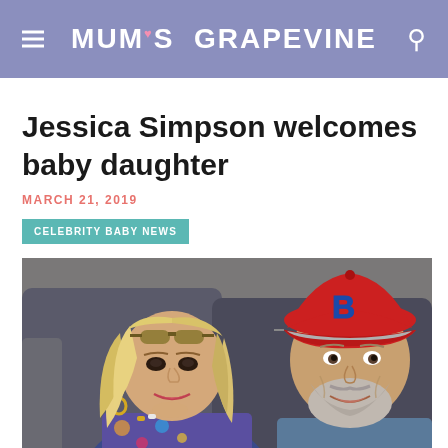MUM'S GRAPEVINE
Jessica Simpson welcomes baby daughter
MARCH 21, 2019
CELEBRITY BABY NEWS
[Figure (photo): Selfie photo of a blonde woman wearing sunglasses on her head and colorful clothing seated next to a man wearing a red Boston Red Sox cap with a grey beard, both smiling, appearing to be on an airplane.]